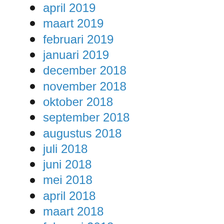april 2019
maart 2019
februari 2019
januari 2019
december 2018
november 2018
oktober 2018
september 2018
augustus 2018
juli 2018
juni 2018
mei 2018
april 2018
maart 2018
februari 2018
januari 2018